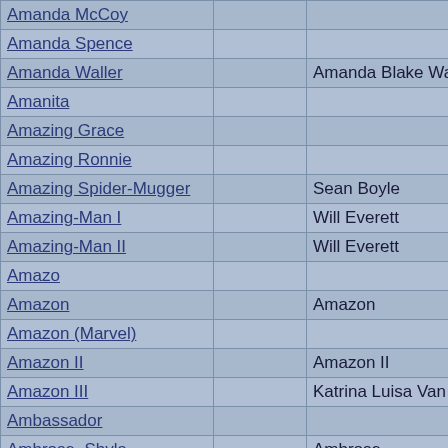| Character |  | Real Name |  |
| --- | --- | --- | --- |
| Amanda McCoy |  |  |  |
| Amanda Spence |  |  |  |
| Amanda Waller |  | Amanda Blake Waller |  |
| Amanita |  |  |  |
| Amazing Grace |  |  |  |
| Amazing Ronnie |  |  |  |
| Amazing Spider-Mugger |  | Sean Boyle |  |
| Amazing-Man I |  | Will Everett |  |
| Amazing-Man II |  | Will Everett |  |
| Amazo |  |  |  |
| Amazon |  | Amazon |  |
| Amazon (Marvel) |  |  |  |
| Amazon II |  | Amazon II |  |
| Amazon III |  | Katrina Luisa Van Horn |  |
| Ambassador |  |  |  |
| Ambrose, Shyla |  | Ambrose | S |
| Ambush |  |  |  |
| Ambush Bug |  |  |  |
| Amenadiel |  |  |  |
| Amenhoten |  | Amenhoten |  |